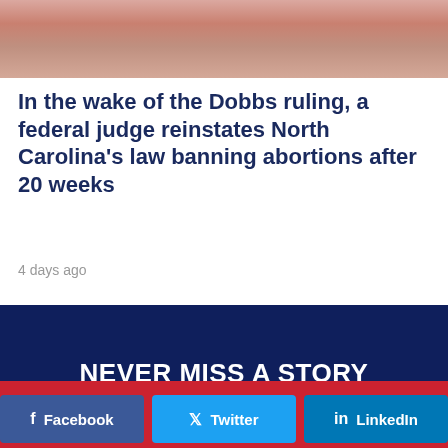[Figure (photo): Close-up photo of skin/hands, cropped at top of page]
In the wake of the Dobbs ruling, a federal judge reinstates North Carolina's law banning abortions after 20 weeks
4 days ago
NEVER MISS A STORY
Facebook  Twitter  LinkedIn